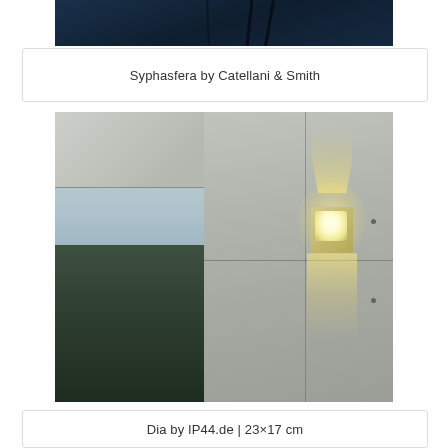[Figure (photo): Partial view of Syphasfera outdoor lighting fixture by Catellani & Smith, showing dark background with cables or wires visible, cropped at top of page]
Syphasfera by Catellani & Smith
[Figure (photo): Outdoor wall-mounted light fixture 'Dia' by IP44.de mounted on a concrete wall, illuminating with beams projecting upward and downward. A doorway or opening to the left reveals sky and trees. Dimensions 23×17 cm.]
Dia by IP44.de | 23×17 cm
[Figure (photo): Partial view of another lighting fixture on dark blue background, partially cropped at bottom of page]